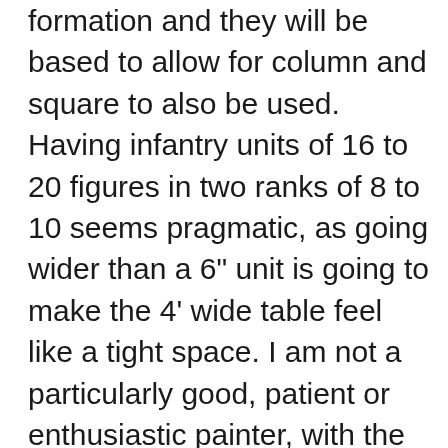formation and they will be based to allow for column and square to also be used. Having infantry units of 16 to 20 figures in two ranks of 8 to 10 seems pragmatic, as going wider than a 6" unit is going to make the 4' wide table feel like a tight space. I am not a particularly good, patient or enthusiastic painter, with the 'wargame standard' being acceptable to my eyes. This will basically be block painting, followed by inking (dipping), with perhaps some highlights going back in. This artistic limitation should allow fairly fast